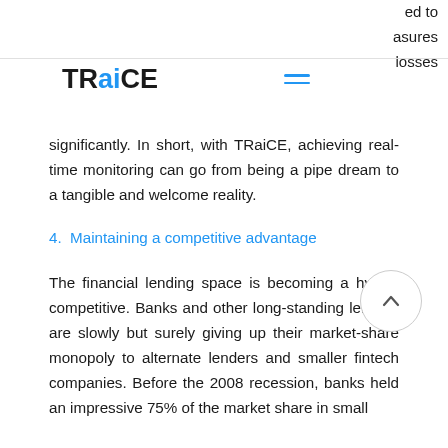TRaiCE
significantly. In short, with TRaiCE, achieving real-time monitoring can go from being a pipe dream to a tangible and welcome reality.
4. Maintaining a competitive advantage
The financial lending space is becoming a hyper-competitive. Banks and other long-standing lenders are slowly but surely giving up their market-share monopoly to alternate lenders and smaller fintech companies. Before the 2008 recession, banks held an impressive 75% of the market share in small